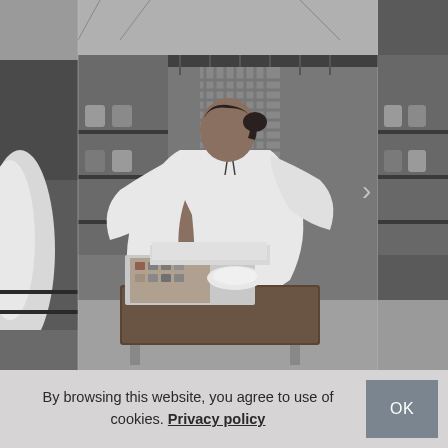[Figure (photo): Black and white photograph of a woman in a large white flowing dress/caftan sitting on a dark ottoman in a walk-in closet, leaning forward to look at items (appears to be makeup or accessories) on a tray on the ottoman. Clothing racks visible in background. The image is shown as a carousel with partial views of adjacent images on the left and right sides. A right-arrow navigation chevron is visible on the right side.]
By browsing this website, you agree to use of cookies. Privacy policy